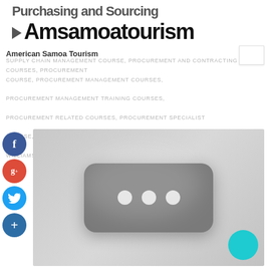Purchasing and Sourcing Amsamoatourism
American Samoa Tourism
SUPPLY CHAIN MANAGEMENT COURSE, PROCUREMENT AND CONTRACTING COURSES, PROCUREMENT COURSE, PROCUREMENT MANAGEMENT COURSES, PROCUREMENT MANAGEMENT TRAINING COURSES, PROCUREMENT RELATED COURSES, PROCUREMENT SPECIALIST COURSE, SUPPLY CHAIN MANAGEMENT COURSES BY LILLIAN WILLIAMSON
[Figure (screenshot): Video player thumbnail showing a dark rounded rectangle with three white dots, set against a light gray background. Social media share buttons (Facebook, Google+, Twitter, and a plus/add button) are shown on the left side. A teal chat bubble icon appears in the bottom right corner.]